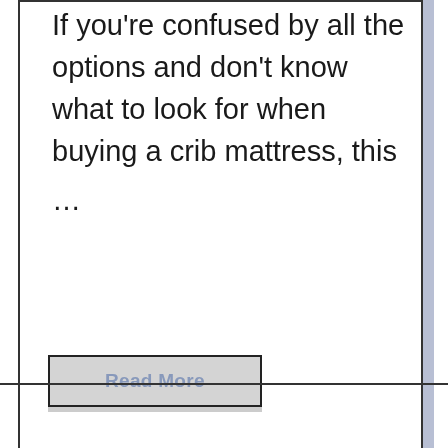If you're confused by all the options and don't know what to look for when buying a crib mattress, this
...
Read More
Older →